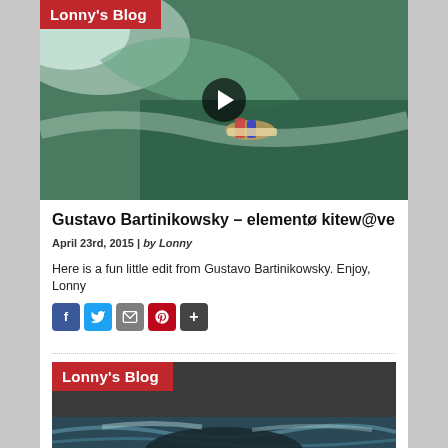[Figure (screenshot): Aerial surfing/kiteboarding video thumbnail with 'Lonny's Blog' red label and play button overlay]
Gustavo Bartinikowsky – elementø kitew@ve
April 23rd, 2015 | by Lonny
Here is a fun little edit from Gustavo Bartinikowsky. Enjoy, Lonny
[Figure (other): Social sharing buttons: Facebook, Twitter, Email, Pinterest, More]
[Figure (screenshot): Second blog post thumbnail with 'Lonny's Blog' red label, dark water/kite scene]